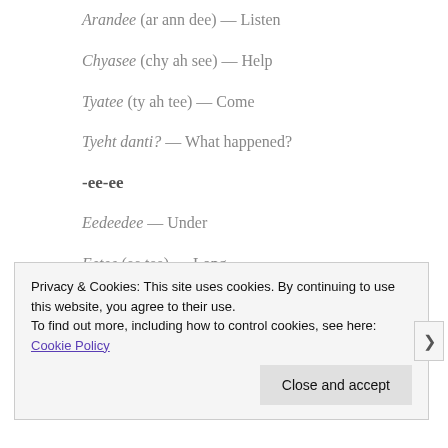Arandee (ar ann dee) — Listen
Chyasee (chy ah see) — Help
Tyatee (ty ah tee) — Come
Tyeht danti? — What happened?
-ee-ee
Eedeedee — Under
Eetee (ee tee) — Long
Privacy & Cookies: This site uses cookies. By continuing to use this website, you agree to their use. To find out more, including how to control cookies, see here: Cookie Policy